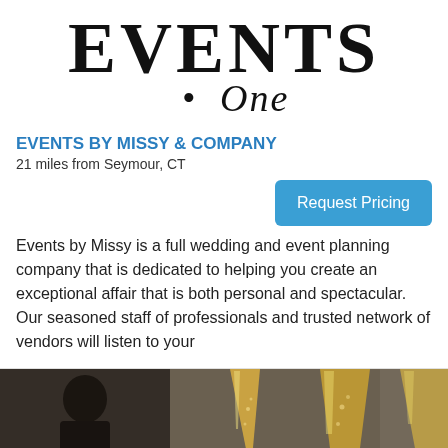[Figure (logo): Events by Missy logo: large serif text 'EVENTS' with italic script 'One' below and a small dot]
EVENTS BY MISSY & COMPANY
21 miles from Seymour, CT
Request Pricing
Events by Missy is a full wedding and event planning company that is dedicated to helping you create an exceptional affair that is both personal and spectacular. Our seasoned staff of professionals and trusted network of vendors will listen to your
[Figure (photo): Photo of champagne flutes with gold/amber tones and a figure in the background]